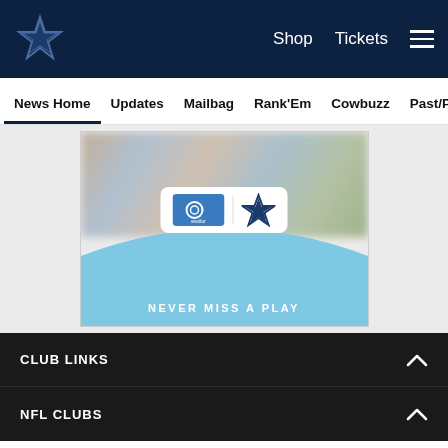Dallas Cowboys - Shop | Tickets | News Home | Updates | Mailbag | Rank'Em | Cowbuzz | Past/Pres
[Figure (illustration): Essilor and Dallas Cowboys co-branded advertisement with 'NEVER MISS A PLAY' tagline, showing blurred crowd background with blue curved overlay and logo box containing Essilor eye logo and Cowboys star logo]
CLUB LINKS
NFL CLUBS
Social icons: Facebook, Twitter, Email, Link